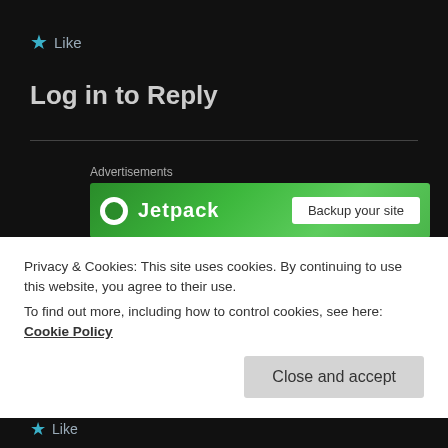★ Like
Log in to Reply
[Figure (screenshot): Green Jetpack advertisement banner with Jetpack logo and a button]
ANTHONY FERNANDEZ
February 20, 2013 at 4:50 PM
Privacy & Cookies: This site uses cookies. By continuing to use this website, you agree to their use.
To find out more, including how to control cookies, see here: Cookie Policy
Close and accept
★ Like